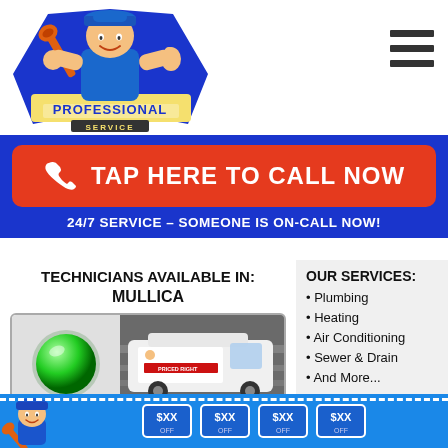[Figure (logo): Professional Service plumber cartoon mascot logo with wrench and thumbs up]
[Figure (illustration): Hamburger menu icon (three horizontal bars)]
TAP HERE TO CALL NOW
24/7 SERVICE – SOMEONE IS ON-CALL NOW!
TECHNICIANS AVAILABLE IN: Mullica
[Figure (photo): Green availability indicator circle and a Priced Right plumbing service van photo]
PLUMBERS NEARBY:  2
OUR SERVICES:
Plumbing
Heating
Air Conditioning
Sewer & Drain
And More...
[Figure (illustration): Bottom coupon strip with blue background, dashed border, plumber mascot and coupon icons]